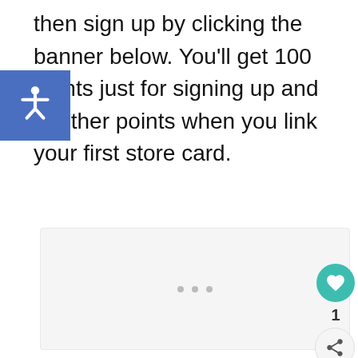then sign up by clicking the banner below. You'll get 100 points just for signing up and another points when you link your first store card.
[Figure (other): Rectangular banner placeholder area with a light gray background and three gray dots centered in the middle, indicating a loading or empty banner image.]